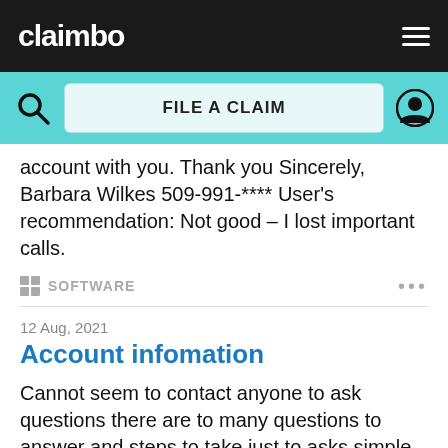claimbo
FILE A CLAIM
account with you. Thank you Sincerely, Barbara Wilkes 509-991-**** User’s recommendation: Not good – I lost important calls.
SOFTWARE
Account infomation
12 Aug, 2021
Cannot seem to contact anyone to ask questions there are to many questions to answer and steps to take just to asks simple question. You need to simplify your format User’s recommendation: Make sure you understand all the prompts before buying.